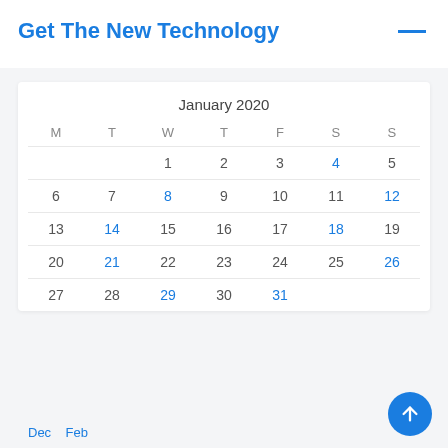Get The New Technology
| M | T | W | T | F | S | S |
| --- | --- | --- | --- | --- | --- | --- |
|  |  | 1 | 2 | 3 | 4 | 5 |
| 6 | 7 | 8 | 9 | 10 | 11 | 12 |
| 13 | 14 | 15 | 16 | 17 | 18 | 19 |
| 20 | 21 | 22 | 23 | 24 | 25 | 26 |
| 27 | 28 | 29 | 30 | 31 |  |  |
Dec   Feb